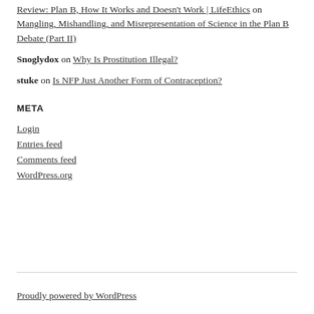Review: Plan B, How It Works and Doesn't Work | LifeEthics on Mangling, Mishandling, and Misrepresentation of Science in the Plan B Debate (Part II)
Snoglydox on Why Is Prostitution Illegal?
stuke on Is NFP Just Another Form of Contraception?
META
Login
Entries feed
Comments feed
WordPress.org
Proudly powered by WordPress